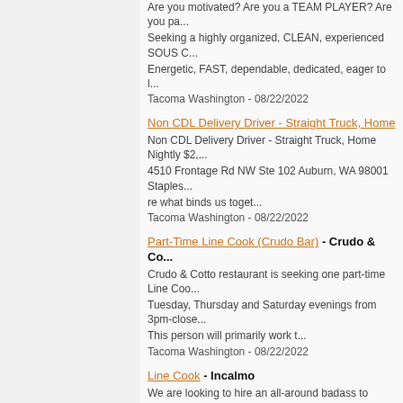Are you motivated? Are you a TEAM PLAYER? Are you pa... Seeking a highly organized, CLEAN, experienced SOUS C... Energetic, FAST, dependable, dedicated, eager to l... Tacoma Washington - 08/22/2022
Non CDL Delivery Driver - Straight Truck, Home Nightly $2,... 4510 Frontage Rd NW Ste 102 Auburn, WA 98001 Staples... re what binds us toget... Tacoma Washington - 08/22/2022
Part-Time Line Cook (Crudo Bar) - Crudo & Co... Crudo & Cotto restaurant is seeking one part-time Line Coo... Tuesday, Thursday and Saturday evenings from 3pm-close... This person will primarily work t... Tacoma Washington - 08/22/2022
Line Cook - Incalmo. We are looking to hire an all-around badass to round out ou... the Italian taverna within Tacoma's Museum of Glass (by th... have hours Wednesday through... Tacoma Washington - 08/22/2022
(FEP) Customer Service Professional 1 - Fully R... WA, and UT - Cambia Health Solutions, Inc. Regence (FEP) Customer Service Professional I or II DOE... or UT. Candidates outside of these states will not be consid... Professional I starting pay range $... Tacoma Washington - 08/22/2022